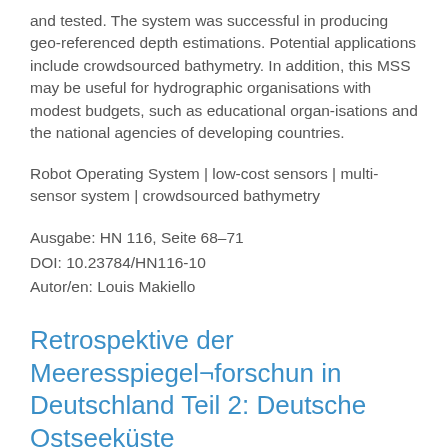and tested. The system was successful in producing geo-referenced depth estimations. Potential applications include crowdsourced bathymetry. In addition, this MSS may be useful for hydrographic organisations with modest budgets, such as educational organ-isations and the national agencies of developing countries.
Robot Operating System | low-cost sensors | multi-sensor system | crowdsourced bathymetry
Ausgabe: HN 116, Seite 68–71
DOI: 10.23784/HN116-10
Autor/en: Louis Makiello
Retrospektive der Meeresspiegel¬forschung in Deutschland Teil 2: Deutsche Ostseeküste